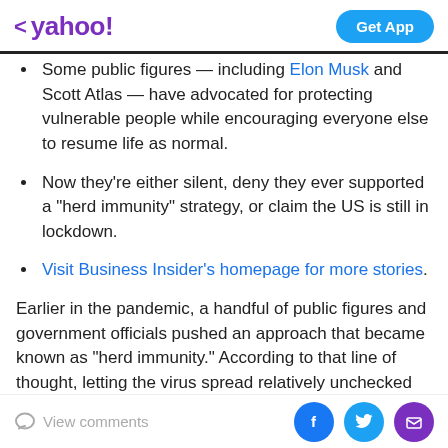< yahoo! | Get App
Some public figures — including Elon Musk and Scott Atlas — have advocated for protecting vulnerable people while encouraging everyone else to resume life as normal.
Now they're either silent, deny they ever supported a "herd immunity" strategy, or claim the US is still in lockdown.
Visit Business Insider's homepage for more stories.
Earlier in the pandemic, a handful of public figures and government officials pushed an approach that became known as "herd immunity." According to that line of thought, letting the virus spread relatively unchecked
View comments